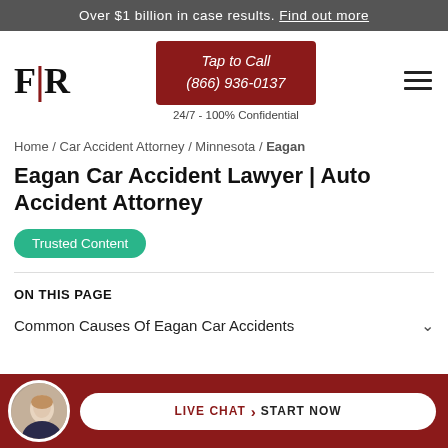Over $1 billion in case results. Find out more
[Figure (logo): FR law firm logo with vertical red bar divider between F and R]
Tap to Call (866) 936-0137
24/7 - 100% Confidential
Home / Car Accident Attorney / Minnesota / Eagan
Eagan Car Accident Lawyer | Auto Accident Attorney
Trusted Content
ON THIS PAGE
Common Causes Of Eagan Car Accidents
LIVE CHAT › START NOW